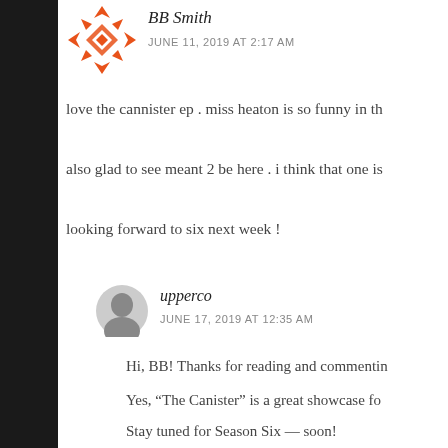[Figure (illustration): Orange decorative avatar icon with geometric diamond pattern for BB Smith]
BB Smith
JUNE 11, 2019 AT 2:17 AM
love the cannister ep . miss heaton is so funny in th
also glad to see meant 2 be here . i think that one is
looking forward to six next week !
[Figure (photo): Small circular avatar photo of upperco user]
upperco
JUNE 17, 2019 AT 12:35 AM
Hi, BB! Thanks for reading and commentin
Yes, “The Canister” is a great showcase fo
Stay tuned for Season Six — soon!